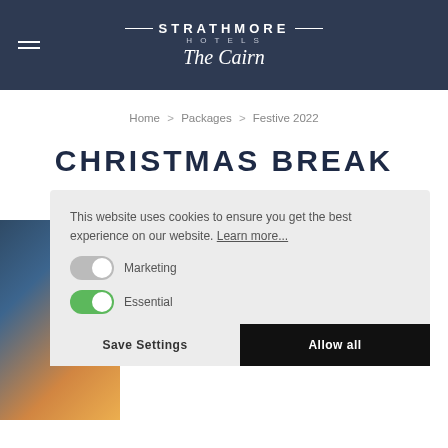STRATHMORE HOTELS — The Cairn
Home > Packages > Festive 2022
CHRISTMAS BREAK
This website uses cookies to ensure you get the best experience on our website. Learn more... Marketing Essential Save Settings Allow all